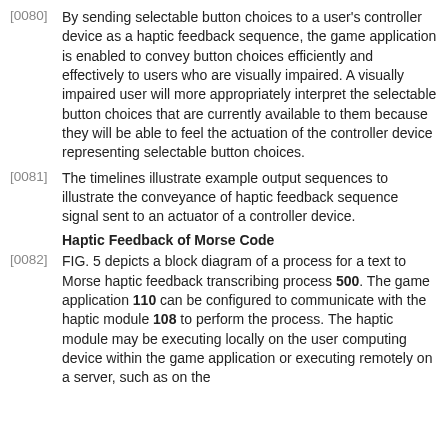[0080] By sending selectable button choices to a user's controller device as a haptic feedback sequence, the game application is enabled to convey button choices efficiently and effectively to users who are visually impaired. A visually impaired user will more appropriately interpret the selectable button choices that are currently available to them because they will be able to feel the actuation of the controller device representing selectable button choices.
[0081] The timelines illustrate example output sequences to illustrate the conveyance of haptic feedback sequence signal sent to an actuator of a controller device.
Haptic Feedback of Morse Code
[0082] FIG. 5 depicts a block diagram of a process for a text to Morse haptic feedback transcribing process 500. The game application 110 can be configured to communicate with the haptic module 108 to perform the process. The haptic module may be executing locally on the user computing device within the game application or executing remotely on a server, such as on the